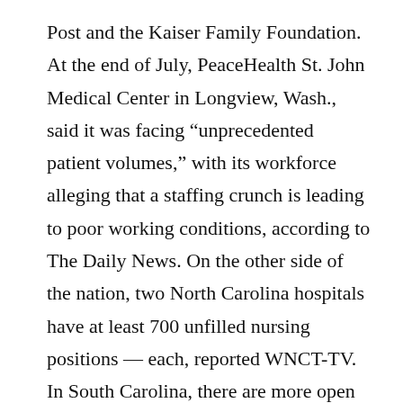Post and the Kaiser Family Foundation. At the end of July, PeaceHealth St. John Medical Center in Longview, Wash., said it was facing “unprecedented patient volumes,” with its workforce alleging that a staffing crunch is leading to poor working conditions, according to The Daily News. On the other side of the nation, two North Carolina hospitals have at least 700 unfilled nursing positions — each, reported WNCT-TV. In South Carolina, there are more open positions for registered nurses than any other job in the state, with 4,955 openings,